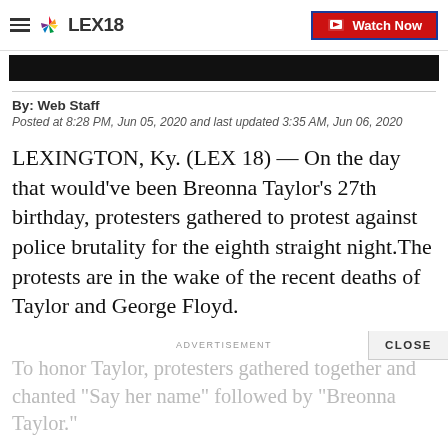LEX18 | Watch Now
[Figure (screenshot): Black video thumbnail bar]
By: Web Staff
Posted at 8:28 PM, Jun 05, 2020 and last updated 3:35 AM, Jun 06, 2020
LEXINGTON, Ky. (LEX 18) — On the day that would've been Breonna Taylor's 27th birthday, protesters gathered to protest against police brutality for the eighth straight night.The protests are in the wake of the recent deaths of Taylor and George Floyd.
CLOSE
ADVERTISEMENT
To honor Taylor, protesters gathered together and chanted "Say her name" followed by "Breonna Taylor."